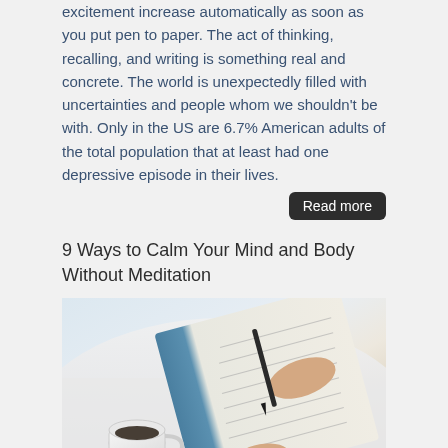excitement increase automatically as soon as you put pen to paper. The act of thinking, recalling, and writing is something real and concrete. The world is unexpectedly filled with uncertainties and people whom we shouldn't be with. Only in the US are 6.7% American adults of the total population that at least had one depressive episode in their lives.
Read more
9 Ways to Calm Your Mind and Body Without Meditation
[Figure (photo): A person in white clothing writing in a notebook/journal, with a white coffee cup visible in the lower left. The image shows hands holding a pen writing on an open book.]
Regardless of whether you lead a busy lifestyle that is always keeping you on the edge of your seat or if you are suffering from an anxiety disorder, staying calm can be quite a challenge. In addition to personal